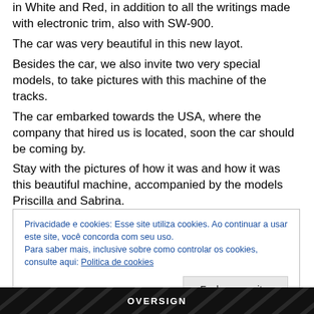in White and Red, in addition to all the writings made with electronic trim, also with SW-900.
The car was very beautiful in this new layot.
Besides the car, we also invite two very special models, to take pictures with this machine of the tracks.
The car embarked towards the USA, where the company that hired us is located, soon the car should be coming by.
Stay with the pictures of how it was and how it was this beautiful machine, accompanied by the models Priscilla and Sabrina.
Stay tuned, many news in this year 2019.
Privacidade e cookies: Esse site utiliza cookies. Ao continuar a usar este site, você concorda com seu uso.
Para saber mais, inclusive sobre como controlar os cookies, consulte aqui: Politica de cookies
[Figure (photo): Dark banner image at the bottom with diagonal stripe pattern and logo text 'OVERSIGN']